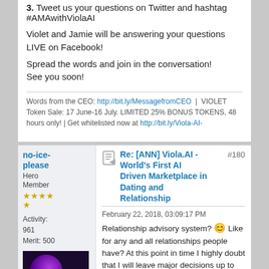3. Tweet us your questions on Twitter and hashtag #AMAwithViolaAI
Violet and Jamie will be answering your questions LIVE on Facebook!
Spread the words and join in the conversation! See you soon!
Words from the CEO: http://bit.ly/MessagefromCEO | VIOLET Token Sale: 17 June-16 July. LIMITED 25% BONUS TOKENS, 48 hours only! | Get whitelisted now at http://bit.ly/Viola-AI-...
no-ice-please
Hero Member
Re: [ANN] Viola.AI - World's First AI Driven Marketplace in Dating and Relationship
February 22, 2018, 03:09:17 PM
Relationship advisory system? 😊 Like for any and all relationships people have? At this point in time I highly doubt that I will leave major decisions up to an AI driven advisor 😉 But who knows... Imagine you have trouble with your wife, could you ever rely on what a *** bot tells you to do? Tough tough tough to say the least 🙂
[Figure (photo): User avatar thumbnail showing 'ITSM' text on dark purple background with glowing circle]